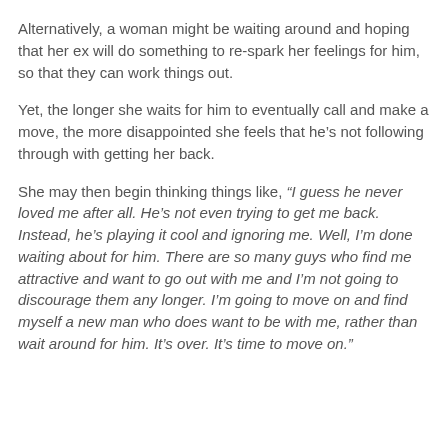Alternatively, a woman might be waiting around and hoping that her ex will do something to re-spark her feelings for him, so that they can work things out.
Yet, the longer she waits for him to eventually call and make a move, the more disappointed she feels that he’s not following through with getting her back.
She may then begin thinking things like, “I guess he never loved me after all. He’s not even trying to get me back. Instead, he’s playing it cool and ignoring me. Well, I’m done waiting about for him. There are so many guys who find me attractive and want to go out with me and I’m not going to discourage them any longer. I’m going to move on and find myself a new man who does want to be with me, rather than wait around for him. It’s over. It’s time to move on.”